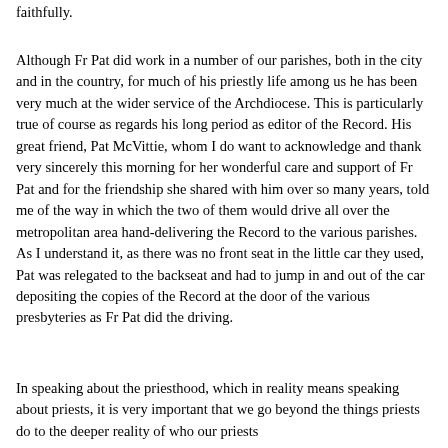faithfully.
Although Fr Pat did work in a number of our parishes, both in the city and in the country, for much of his priestly life among us he has been very much at the wider service of the Archdiocese. This is particularly true of course as regards his long period as editor of the Record. His great friend, Pat McVittie, whom I do want to acknowledge and thank very sincerely this morning for her wonderful care and support of Fr Pat and for the friendship she shared with him over so many years, told me of the way in which the two of them would drive all over the metropolitan area hand-delivering the Record to the various parishes. As I understand it, as there was no front seat in the little car they used, Pat was relegated to the backseat and had to jump in and out of the car depositing the copies of the Record at the door of the various presbyteries as Fr Pat did the driving.
In speaking about the priesthood, which in reality means speaking about priests, it is very important that we go beyond the things priests do to the deeper reality of who our priests are, their theology and in their living with it as a Church...